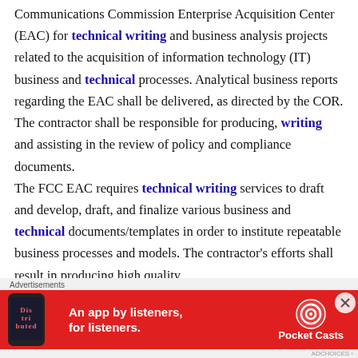The contractor shall provide support to the Federal Communications Commission Enterprise Acquisition Center (EAC) for technical writing and business analysis projects related to the acquisition of information technology (IT) business and technical processes. Analytical business reports regarding the EAC shall be delivered, as directed by the COR. The contractor shall be responsible for producing, writing and assisting in the review of policy and compliance documents. The FCC EAC requires technical writing services to draft and develop, draft, and finalize various business and technical documents/templates in order to institute repeatable business processes and models. The contractor's efforts shall result in producing high quality
[Figure (other): Advertisement banner for Pocket Casts app: red background with text 'An app by listeners, for listeners.' and Pocket Casts logo, with phone image showing 'Distributed' text.]